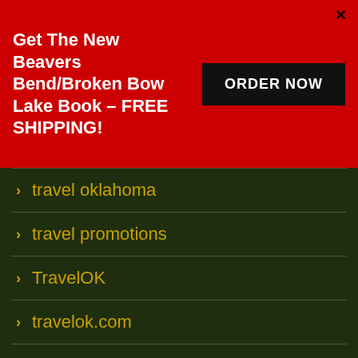[Figure (infographic): Red banner advertisement: 'Get The New Beavers Bend/Broken Bow Lake Book - FREE SHIPPING!' with black ORDER NOW button and X close button]
travel oklahoma
travel promotions
TravelOK
travelok.com
trout
trout fishing
United States Congress
University of Oklahoma